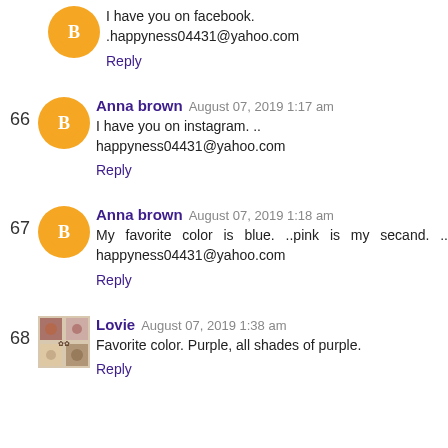I have you on facebook. .happyness04431@yahoo.com
Reply
Anna brown  August 07, 2019 1:17 am
I have you on instagram. .. happyness04431@yahoo.com
Reply
Anna brown  August 07, 2019 1:18 am
My favorite color is blue. ..pink is my secand. .. happyness04431@yahoo.com
Reply
Lovie  August 07, 2019 1:38 am
Favorite color. Purple, all shades of purple.
Reply